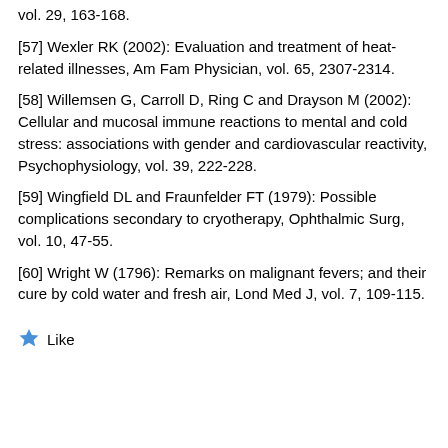vol. 29, 163-168.
[57] Wexler RK (2002): Evaluation and treatment of heat-related illnesses, Am Fam Physician, vol. 65, 2307-2314.
[58] Willemsen G, Carroll D, Ring C and Drayson M (2002): Cellular and mucosal immune reactions to mental and cold stress: associations with gender and cardiovascular reactivity, Psychophysiology, vol. 39, 222-228.
[59] Wingfield DL and Fraunfelder FT (1979): Possible complications secondary to cryotherapy, Ophthalmic Surg, vol. 10, 47-55.
[60] Wright W (1796): Remarks on malignant fevers; and their cure by cold water and fresh air, Lond Med J, vol. 7, 109-115.
★ Like